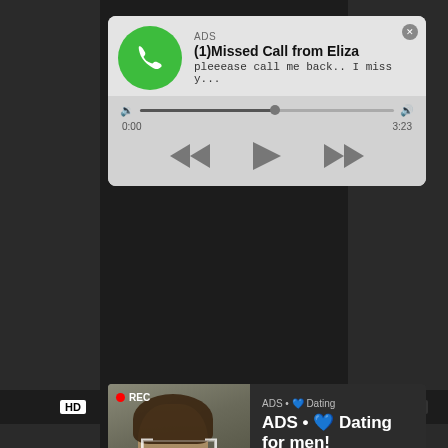[Figure (screenshot): Audio ad notification card showing missed call from Eliza with green phone icon, ADS label, playback progress bar, and transport controls (rewind, play, fast-forward). Below is a video player ad banner with HD badge, REC indicator, photo of woman taking selfie, and dating advertisement text: ADS • 💙 Dating for men! Find bad girls here 🔥]
ADS
(1)Missed Call from Eliza
pleeease call me back.. I miss y...
0:00
3:23
HD
min
REC
ADS • 💙 Dating for men! Find bad girls here 🔥
fucki
b, a...